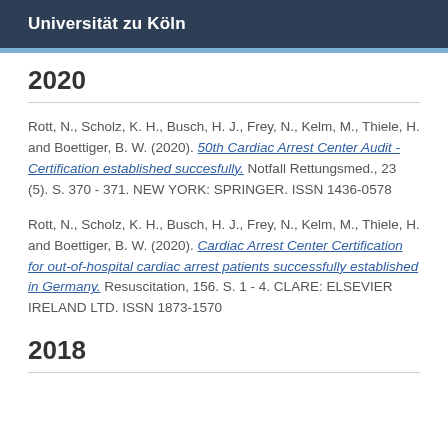Universität zu Köln
2020
Rott, N., Scholz, K. H., Busch, H. J., Frey, N., Kelm, M., Thiele, H. and Boettiger, B. W. (2020). 50th Cardiac Arrest Center Audit - Certification established succesfully. Notfall Rettungsmed., 23 (5). S. 370 - 371. NEW YORK: SPRINGER. ISSN 1436-0578
Rott, N., Scholz, K. H., Busch, H. J., Frey, N., Kelm, M., Thiele, H. and Boettiger, B. W. (2020). Cardiac Arrest Center Certification for out-of-hospital cardiac arrest patients successfully established in Germany. Resuscitation, 156. S. 1 - 4. CLARE: ELSEVIER IRELAND LTD. ISSN 1873-1570
2018